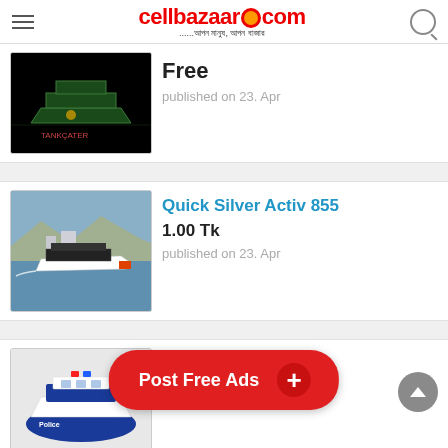cellbazaar.com
[Figure (screenshot): Boat listing image - dark background with green illuminated boat]
Free
published on 23. Apr
[Figure (screenshot): Quick Silver Activ 855 speedboat on water]
Quick Silver Activ 855
1.00 Tk
published on 23. Apr
[Figure (screenshot): GRP Speed Boat - blue and white police boat toy]
GRP Speed Boat
1.00 Tk
Post Free Ads +